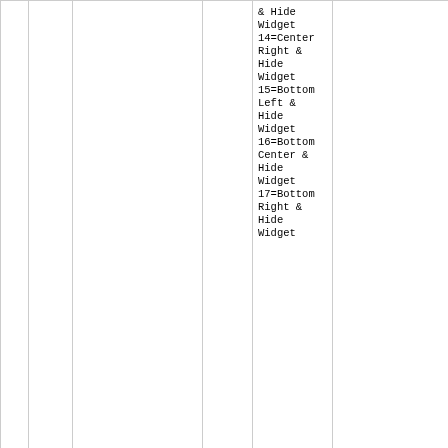| # | Since | Name | Type | Values | Description |
| --- | --- | --- | --- | --- | --- |
|  |  |  |  | & Hide Widget
14=Center Right & Hide Widget
15=Bottom Left & Hide Widget
16=Bottom Center & Hide Widget
17=Bottom Right & Hide Widget |  |
| 4 | 1.0.4 | progressAnimationAtClickXY | boolean | true|false | If check progress animati displaye X,Y pos where w is clicke |
| 5 | 0.1.9.8 | progressAnimationBasename | string | - | Holds t basena the files as fram the rel |